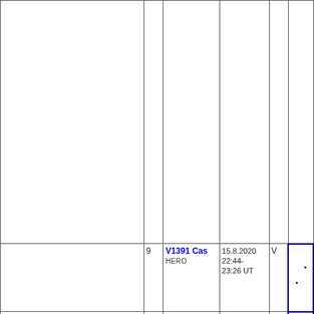| (chart) | № | Star name / Observer | Date / Time (UT) | Band | Chart |
| --- | --- | --- | --- | --- | --- |
|  |  |  |  |  |  |
|  | 9 | V1391 Cas
HERO | 15.8.2020
22:44-23:26 UT | V | (chart with dots) |
|  | 8 | V1391 Cas
HERO | 14.8.2020
22:20-23:3 UT | B | (chart) |